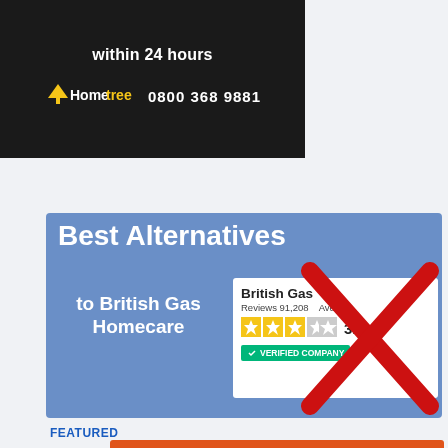[Figure (infographic): Hometree advertisement banner with dark background showing 'within 24 hours' text and Hometree logo with phone number 0800 368 9881]
[Figure (infographic): Blue banner graphic reading 'Best Alternatives to British Gas Homecare' with a Trustpilot rating card showing British Gas with 91,208 reviews, 3.1 average rating and VERIFIED COMPANY badge, overlaid with a large red X]
FEATURED
[Figure (infographic): Orange Direct Relief donation banner: 'Help send medical aid to Ukraine >>' with Direct Relief logo]